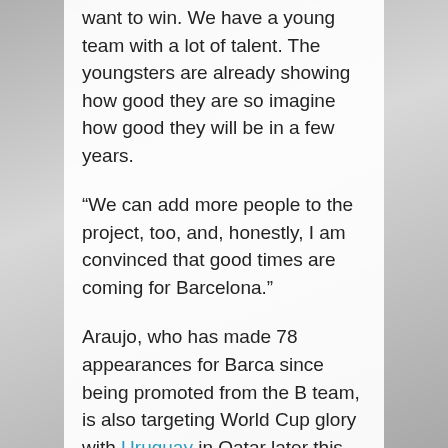want to win. We have a young team with a lot of talent. The youngsters are already showing how good they are so imagine how good they will be in a few years.
“We can add more people to the project, too, and, honestly, I am convinced that good times are coming for Barcelona.”
Araujo, who has made 78 appearances for Barca since being promoted from the B team, is also targeting World Cup glory with Uruguay in Qatar later this year.
“I’m really excited with the national team we have,” he said. “There are a lot of young players with talent mixing with the veterans. We going are to have a good World Cu...